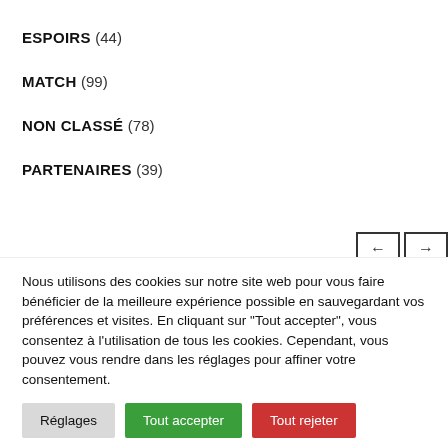ESPOIRS (44)
MATCH (99)
NON CLASSÉ (78)
PARTENAIRES (39)
Nous utilisons des cookies sur notre site web pour vous faire bénéficier de la meilleure expérience possible en sauvegardant vos préférences et visites. En cliquant sur "Tout accepter", vous consentez à l'utilisation de tous les cookies. Cependant, vous pouvez vous rendre dans les réglages pour affiner votre consentement.
Réglages | Tout accepter | Tout rejeter